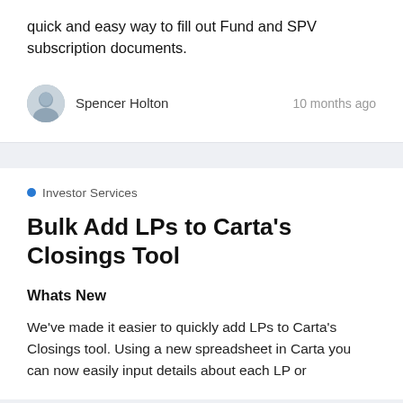quick and easy way to fill out Fund and SPV subscription documents.
Spencer Holton
10 months ago
Investor Services
Bulk Add LPs to Carta's Closings Tool
Whats New
We've made it easier to quickly add LPs to Carta's Closings tool. Using a new spreadsheet in Carta you can now easily input details about each LP or